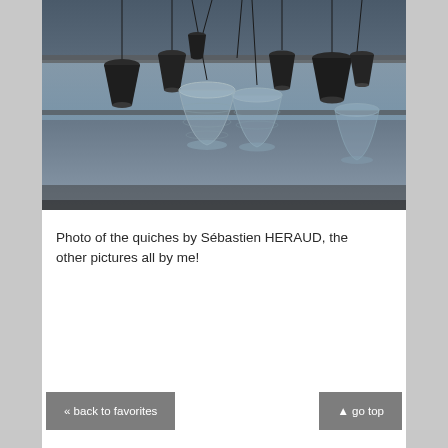[Figure (photo): Photograph of multiple pendant lamps hanging from ceiling, mix of dark metallic conical shades and transparent/glass bowl-shaped shades, against a blurred background of windows and blue-grey tones.]
Photo of the quiches by Sébastien HERAUD, the other pictures all by me!
« back to favorites
▲ go top